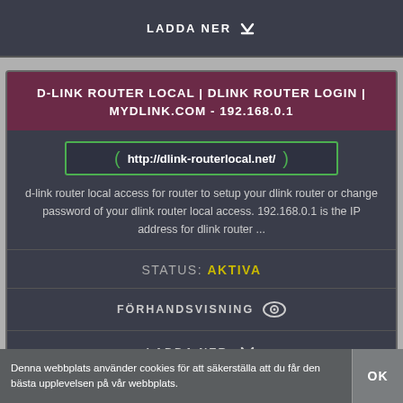LADDA NER
D-LINK ROUTER LOCAL | DLINK ROUTER LOGIN | MYDLINK.COM - 192.168.0.1
http://dlink-routerlocal.net/
d-link router local access for router to setup your dlink router or change password of your dlink router local access. 192.168.0.1 is the IP address for dlink router ...
STATUS: AKTIVA
FÖRHANDSVISNING
LADDA NER
Denna webbplats använder cookies för att säkerställa att du får den bästa upplevelsen på vår webbplats.